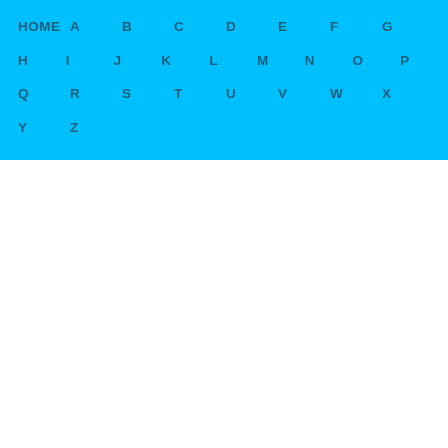HOME A B C D E F G H I J K L M N O P Q R S T U V W X Y Z
Editable Garage Sale Signs Serpto Carpentersdaughter Co .